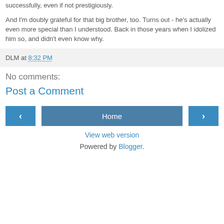successfully, even if not prestigiously.
And I'm doubly grateful for that big brother, too. Turns out - he's actually even more special than I understood. Back in those years when I idolized him so, and didn't even know why.
DLM at 8:32 PM
No comments:
Post a Comment
Home
View web version
Powered by Blogger.